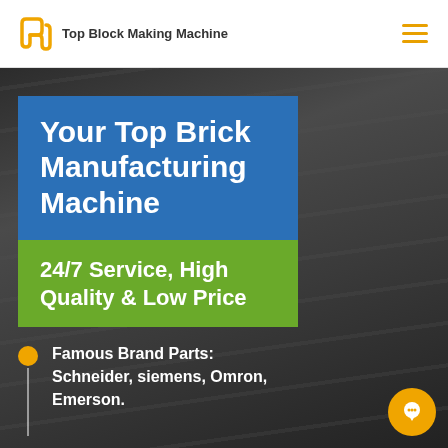Top Block Making Machine
Your Top Brick Manufacturing Machine
24/7 Service, High Quality & Low Price
Famous Brand Parts: Schneider, siemens, Omron, Emerson.